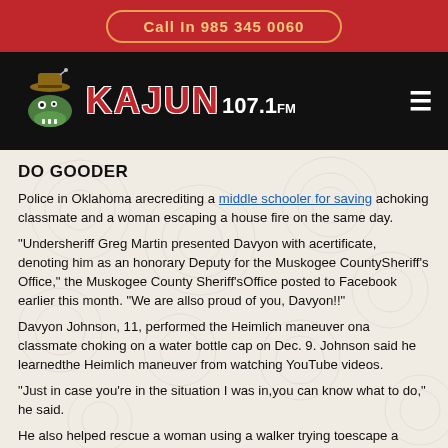Call In 985 345 0060
[Figure (logo): Kajun 107.1 FM radio station logo with cartoon gator wearing cowboy hat]
DO GOODER
Police in Oklahoma arecrediting a middle schooler for saving achoking classmate and a woman escaping a house fire on the same day.
"Undersheriff Greg Martin presented Davyon with acertificate, denoting him as an honorary Deputy for the Muskogee CountySheriff's Office," the Muskogee County Sheriff'sOffice posted to Facebook earlier this month. "We are allso proud of you, Davyon!!"
Davyon Johnson, 11, performed the Heimlich maneuver ona classmate choking on a water bottle cap on Dec. 9. Johnson said he learnedthe Heimlich maneuver from watching YouTube videos.
"Just in case you're in the situation I was in,you can know what to do," he said.
He also helped rescue a woman using a walker trying toescape a house fire that same day. . 'Oh, she's not